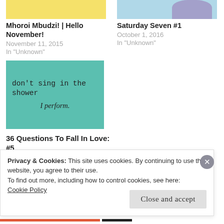[Figure (photo): Yellow thumbnail image for blog post]
Mhoroi Mbudzi! | Hello November!
November 11, 2015
In "Unknown"
[Figure (photo): Light blue sky with purple tree thumbnail]
Saturday Seven #1
October 1, 2016
In "Unknown"
[Figure (photo): Teal card with text: don't sing in the shower I perform.]
36 Questions To Fall In Love: #5
May 11, 2015
In "Unknown"
Privacy & Cookies: This site uses cookies. By continuing to use this website, you agree to their use.
To find out more, including how to control cookies, see here:
Cookie Policy
Close and accept